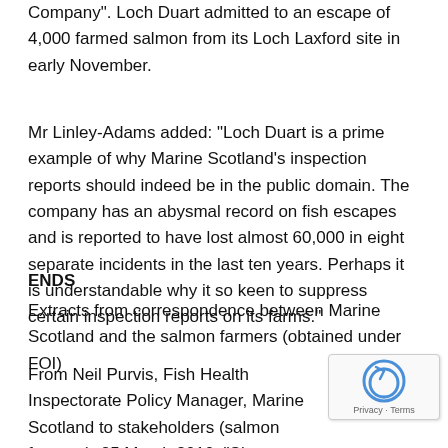Company". Loch Duart admitted to an escape of 4,000 farmed salmon from its Loch Laxford site in early November.
Mr Linley-Adams added: "Loch Duart is a prime example of why Marine Scotland's inspection reports should indeed be in the public domain. The company has an abysmal record on fish escapes and is reported to have lost almost 60,000 in eight separate incidents in the last ten years. Perhaps it is understandable why it so keen to suppress certain inspection reports on its farms."
ENDS
Extracts from correspondence between Marine Scotland and the salmon farmers (obtained under FOI)
From Neil Purvis, Fish Health Inspectorate Policy Manager, Marine Scotland to stakeholders (salmon farmers), 25 March 2010: "Since November 2008, the Fish Health Inspectorate has implemented a programme of audi relation to the parasite (sea lice) and containment provisions of the Aquaculture and Fisheries (Scotland) Act